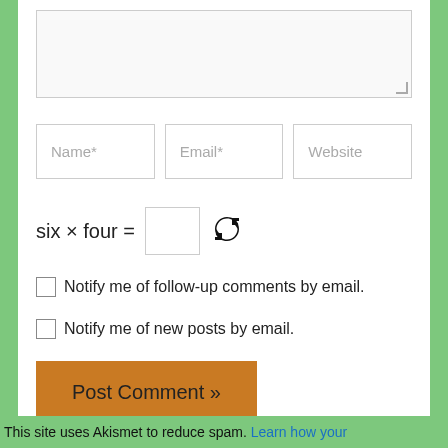[Figure (screenshot): Textarea input box (comment field), partially shown at top]
Name*
Email*
Website
six × four =
[Figure (other): Refresh/reload icon for CAPTCHA]
Notify me of follow-up comments by email.
Notify me of new posts by email.
Post Comment »
This site uses Akismet to reduce spam. Learn how your